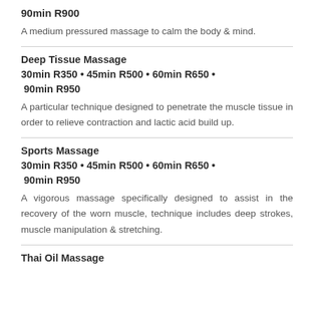90min  R900
A medium pressured massage to calm the body & mind.
Deep Tissue Massage
30min R350 • 45min R500 • 60min  R650  •  90min  R950
A particular technique designed to penetrate the muscle tissue in order to relieve contraction and lactic acid build up.
Sports Massage
30min R350 • 45min R500 • 60min  R650  •  90min  R950
A vigorous massage specifically designed to assist in the recovery of the worn muscle, technique includes deep strokes, muscle manipulation & stretching.
Thai Oil Massage